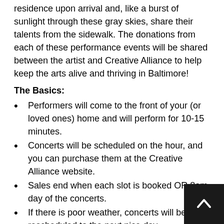residence upon arrival and, like a burst of sunlight through these gray skies, share their talents from the sidewalk. The donations from each of these performance events will be shared between the artist and Creative Alliance to help keep the arts alive and thriving in Baltimore!
The Basics:
Performers will come to the front of your (or loved ones) home and will perform for 10-15 minutes.
Concerts will be scheduled on the hour, and you can purchase them at the Creative Alliance website.
Sales end when each slot is booked OR 8am day of the concerts.
If there is poor weather, concerts will be rescheduled to the next nice day
What if I want to purchase a concert for someone else???
Just leave the name, address, and cell number of the person